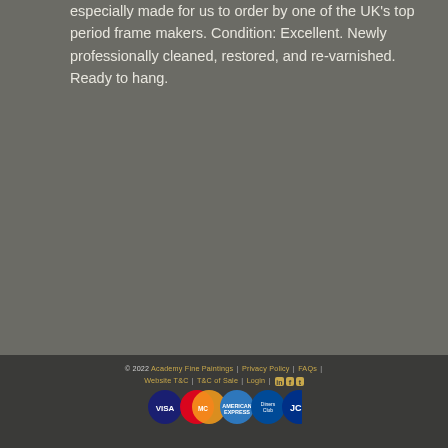especially made for us to order by one of the UK's top period frame makers. Condition: Excellent. Newly professionally cleaned, restored, and re-varnished. Ready to hang.
© 2022 Academy Fine Paintings | Privacy Policy | FAQs | Website T&C | T&C of Sale | Login | [LinkedIn] [Facebook] [Twitter]
[Figure (other): Row of payment method icons: Visa, Mastercard, American Express, Diners Club, JCB]